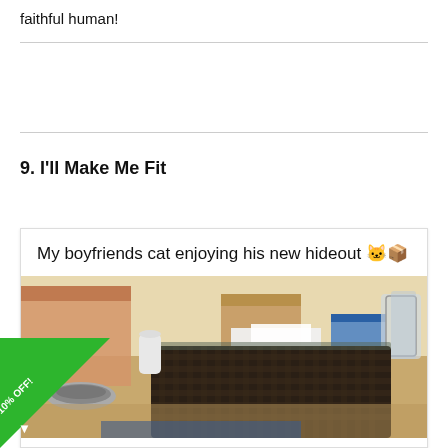faithful human!
9. I'll Make Me Fit
My boyfriends cat enjoying his new hideout 🐱📦
[Figure (photo): Photo of a cat's hideout area showing a dark wicker/rattan table or basket on a wooden floor, with cardboard boxes, papers, a metal bowl, and glasses in the background.]
[Figure (infographic): Green corner badge with text GET 10% OFF! and a downward arrow, positioned at bottom-left corner of the page.]